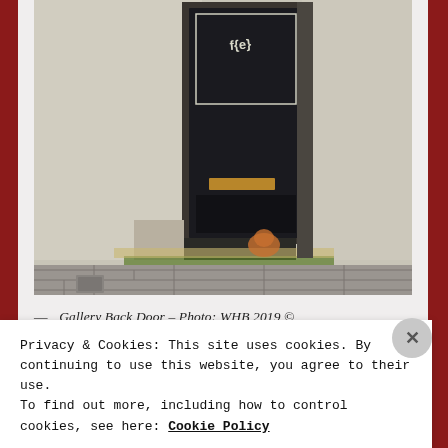[Figure (photo): Photo of a dark/black weathered door on a stucco wall, with graffiti markings, a mail slot, green moss on the ground, and paving stones in front. Labeled 'Gallery Back Door – Photo: WHB 2019 ©']
— Gallery Back Door – Photo: WHB 2019 ©
Privacy & Cookies: This site uses cookies. By continuing to use this website, you agree to their use.
To find out more, including how to control cookies, see here: Cookie Policy